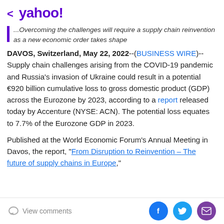< yahoo!
...Overcoming the challenges will require a supply chain reinvention as a new economic order takes shape
DAVOS, Switzerland, May 22, 2022--(BUSINESS WIRE)-- Supply chain challenges arising from the COVID-19 pandemic and Russia's invasion of Ukraine could result in a potential €920 billion cumulative loss to gross domestic product (GDP) across the Eurozone by 2023, according to a report released today by Accenture (NYSE: ACN). The potential loss equates to 7.7% of the Eurozone GDP in 2023.
Published at the World Economic Forum's Annual Meeting in Davos, the report, "From Disruption to Reinvention – The future of supply chains in Europe,"
View comments | Social share buttons: Facebook, Twitter, Mail